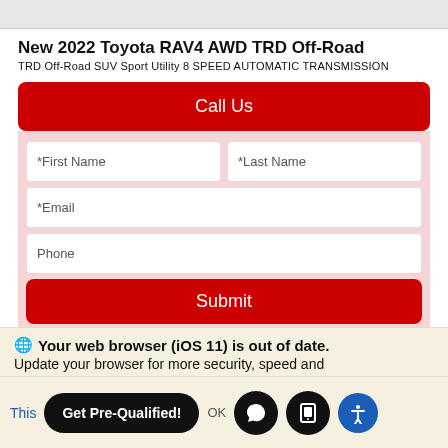[Figure (screenshot): Top strip showing bottom edge of a car image]
New 2022 Toyota RAV4 AWD TRD Off-Road
TRD Off-Road SUV Sport Utility 8 SPEED AUTOMATIC TRANSMISSION
Call Us
*First Name
*Last Name
*Email
Phone
Submit
SCHEDULE TEST DRIVE
Your web browser (iOS 11) is out of date.
Update your browser for more security, speed and
This
OK
Get Pre-Qualified!